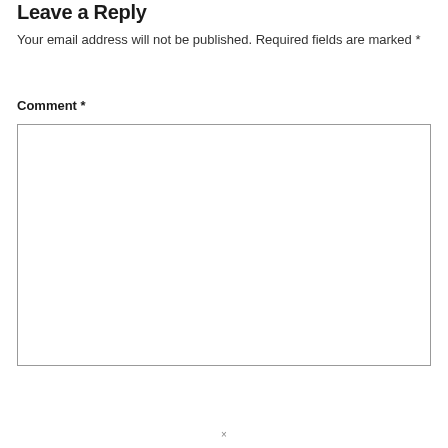Leave a Reply
Your email address will not be published. Required fields are marked *
Comment *
[Figure (other): Empty text area input box for comment submission]
×